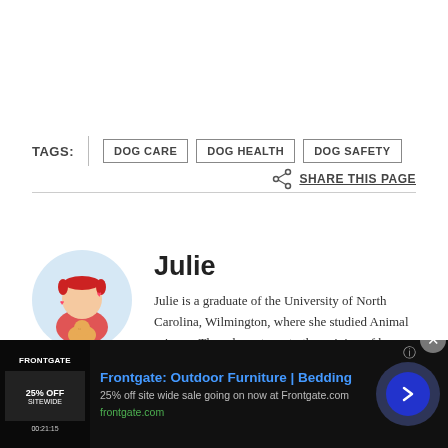TAGS: | DOG CARE   DOG HEALTH   DOG SAFETY
SHARE THIS PAGE
Julie
Julie is a graduate of the University of North Carolina, Wilmington, where she studied Animal science. Though contrary to the opinion of her parents she was meant to study pharmacy, but she was in
[Figure (illustration): Circular avatar illustration of a cartoon girl with red hair in pigtails wearing a red outfit, holding a cat, on a light blue background]
[Figure (screenshot): Advertisement banner for Frontgate: Outdoor Furniture | Bedding, showing 25% off sitewide sale, with dark background and blue arrow button]